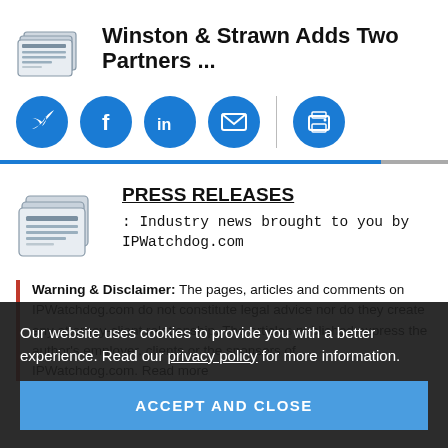Winston & Strawn Adds Two Partners ...
[Figure (illustration): Newspaper stack icon]
[Figure (infographic): Social sharing icons row: Twitter, Facebook, LinkedIn, Email, Print]
[Figure (illustration): Newspaper stack icon for Press Releases section]
PRESS RELEASES
: Industry news brought to you by IPWatchdog.com
Warning & Disclaimer: The pages, articles and comments on IPWatchdog.com do not constitute legal advice nor do they create any attorney-client relationship. The articles published express the author's employer, clients or the sponsors of IPWatchdog.com. Read more
Our website uses cookies to provide you with a better experience. Read our privacy policy for more information.
ACCEPT AND CLOSE